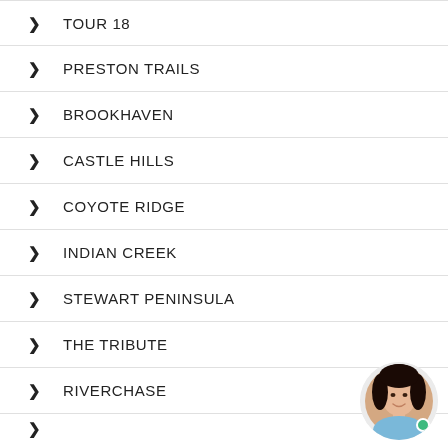TOUR 18
PRESTON TRAILS
BROOKHAVEN
CASTLE HILLS
COYOTE RIDGE
INDIAN CREEK
STEWART PENINSULA
THE TRIBUTE
RIVERCHASE
OAKMONT (partial)
[Figure (photo): Avatar photo of a smiling woman with dark hair, with a green online indicator dot]